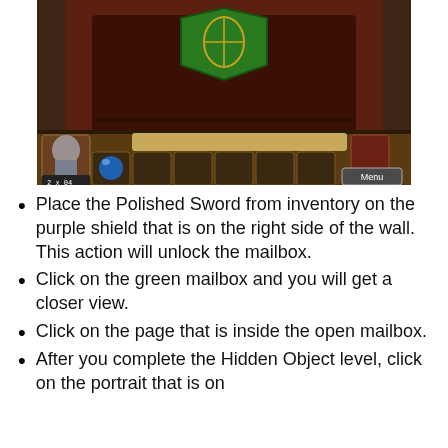[Figure (screenshot): A game screenshot showing a fantasy tavern/inn inventory screen with a green shield on the wall, an inventory bar at the bottom with items, a character portrait, and a Menu button.]
Place the Polished Sword from inventory on the purple shield that is on the right side of the wall. This action will unlock the mailbox.
Click on the green mailbox and you will get a closer view.
Click on the page that is inside the open mailbox.
After you complete the Hidden Object level, click on the portrait that is on